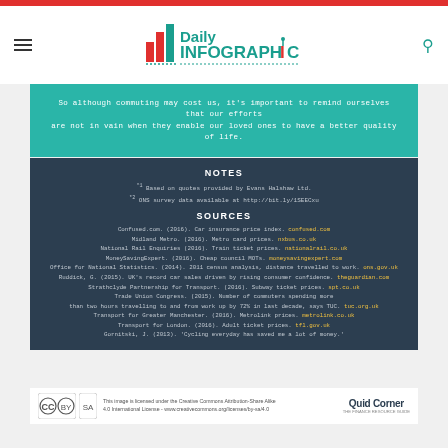Daily Infographic
So although commuting may cost us, it's important to remind ourselves that our efforts are not in vain when they enable our loved ones to have a better quality of life.
NOTES
*1 Based on quotes provided by Evans Halshaw Ltd.
*2 ONS survey data available at http://bit.ly/1SEECxu
SOURCES
Confused.com. (2016). Car insurance price index. confused.com
Midland Metro. (2016). Metro card prices. nxbus.co.uk
National Rail Enquiries (2016). Train ticket prices. nationalrail.co.uk
MoneySavingExpert. (2016). Cheap council MOTs. moneysavingexpert.com
Office for National Statistics. (2014). 2011 census analysis, distance travelled to work. ons.gov.uk
Ruddick, G. (2015). UK's record car sales driven by rising consumer confidence. theguardian.com
Strathclyde Partnership for Transport. (2016). Subway ticket prices. spt.co.uk
Trade Union Congress. (2015). Number of commuters spending more than two hours travelling to and from work up by 72% in last decade, says TUC. tuc.org.uk
Transport for Greater Manchester. (2016). Metrolink prices. metrolink.co.uk
Transport for London. (2016). Adult ticket prices. tfl.gov.uk
Gornitski, J. (2013). 'Cycling everyday has saved me a lot of money.'
This image is licensed under the Creative Commons Attribution-Share Alike 4.0 International License - www.creativecommons.org/licenses/by-sa/4.0  |  Quid Corner